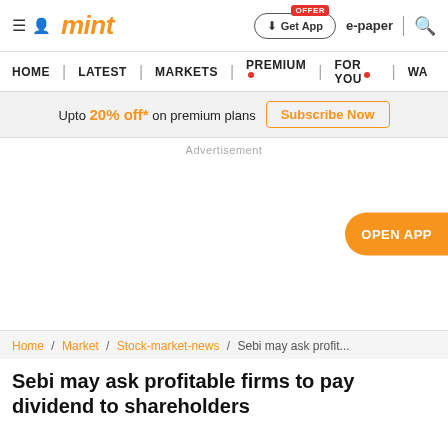mint — Get App | e-paper | search
HOME | LATEST | MARKETS | PREMIUM | FOR YOU | WA
Upto 20% off* on premium plans  Subscribe Now
Advertisement
OPEN APP
Home / Market / Stock-market-news / Sebi may ask profit...
Sebi may ask profitable firms to pay dividend to shareholders